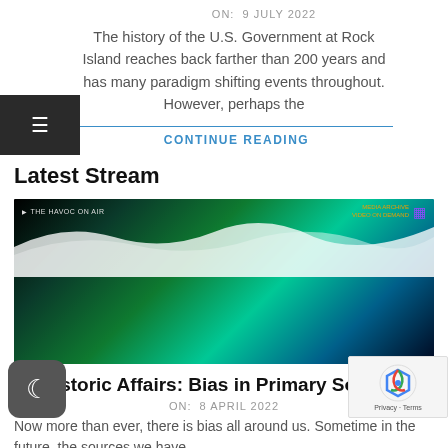ON:  9 JULY 2022
The history of the U.S. Government at Rock Island reaches back farther than 200 years and has many paradigm shifting events throughout. However, perhaps the
CONTINUE READING
Latest Stream
[Figure (screenshot): Stream thumbnail showing 'THE HAVOC ON AIR' with colorful green and cyan wave patterns on dark background, with MEDIA ARCHIVE VIDEO ON DEMAND label and Twitch icon]
Historic Affairs: Bias in Primary Sources
ON:  8 APRIL 2022
Now more than ever, there is bias all around us. Sometime in the future, the sources we have